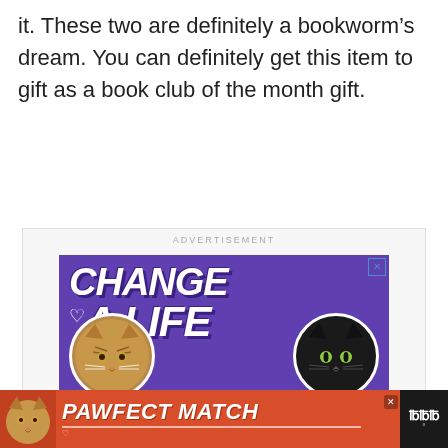it. These two are definitely a bookworm's dream. You can definitely get this item to gift as a book club of the month gift.
[Figure (screenshot): Advertisement banner with purple background showing text 'CHANGE A LIFE' in large white bold italic letters with a heart outline, and two cat faces (a brown tabby and a black cat) in circular frames at the bottom.]
[Figure (screenshot): Bottom advertisement bar with orange/red background showing a cat image on the left and text 'PAWFECT MATCH' in bold white letters with a close button and a logo on the right.]